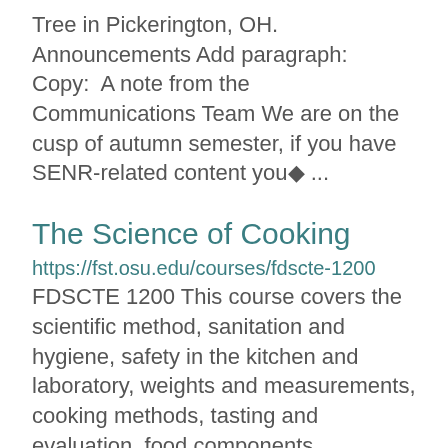Tree in Pickerington, OH.  Announcements Add paragraph:  Copy:  A note from the Communications Team We are on the cusp of autumn semester, if you have SENR-related content you� ...
The Science of Cooking
https://fst.osu.edu/courses/fdscte-1200 FDSCTE 1200 This course covers the scientific method, sanitation and hygiene, safety in the kitchen and laboratory, weights and measurements, cooking methods, tasting and evaluation, food components, correlations to industrial food ...